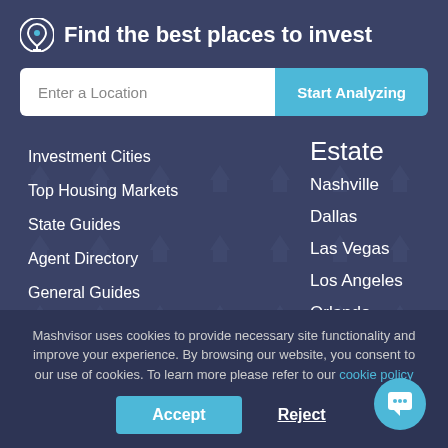Find the best places to invest
Enter a Location
Start Analyzing
Investment Cities
Top Housing Markets
State Guides
Agent Directory
General Guides
Sitemap
Estate
Nashville
Dallas
Las Vegas
Los Angeles
Orlando
Atlanta
Mashvisor uses cookies to provide necessary site functionality and improve your experience. By browsing our website, you consent to our use of cookies. To learn more please refer to our cookie policy
Accept
Reject